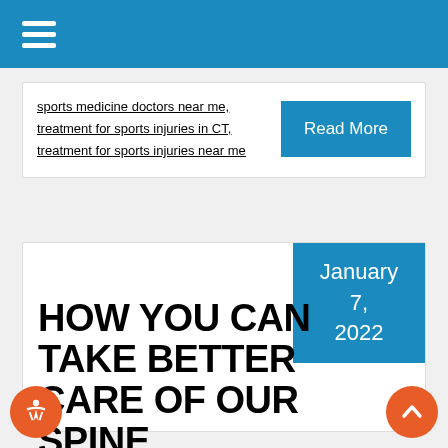Navigation menu (hamburger icon)
sports medicine doctors near me,
treatment for sports injuries in CT,
treatment for sports injuries near me
Read More
January 7, 2022
HOW YOU CAN TAKE BETTER CARE OF OUR SPINE